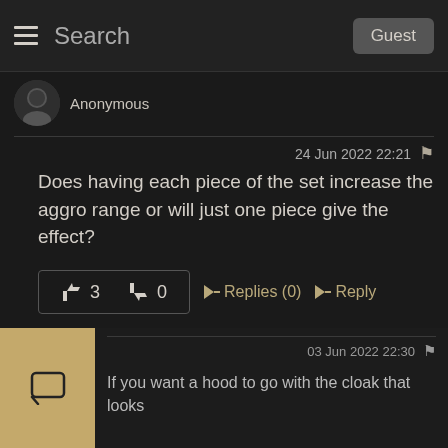Search  Guest
Anonymous
24 Jun 2022 22:21
Does having each piece of the set increase the aggro range or will just one piece give the effect?
👍 3  👎 0  ➡Replies (0)  ➡Reply
Anonymous
03 Jun 2022 22:30
If you want a hood to go with the cloak that looks